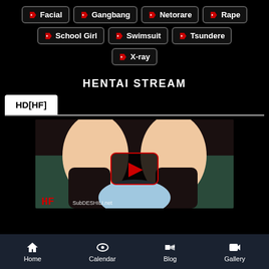Facial
Gangbang
Netorare
Rape
School Girl
Swimsuit
Tsundere
X-ray
HENTAI STREAM
HD[HF]
[Figure (screenshot): Anime video player thumbnail with play button overlay, HF watermark, and subtitle text]
Home | Calendar | Blog | Gallery